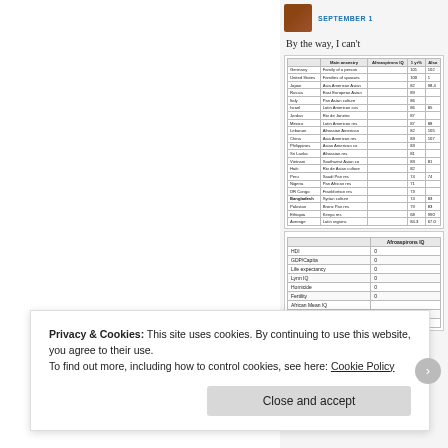SEPTEMBER 1
By the way, I can't
|  | Main ancestry | Afroaspirons IQ | 1 yr% | Also |
| --- | --- | --- | --- | --- |
| Germany | Family of a person |  | 101 | 102 |
| United States | Families of spouses |  | 100 | 1 |
| Japan | Asia American Asian |  | 82 | 98.4 |
| Russia | East European Asian |  | 89 |  |
| Italy | Pan Asian culture |  | 86 |  |
| Israel | Latin American cos |  | 86 | 85 |
| Jordan | Rio de Janeiro |  | 87 |  |
| Mexico | Latin American res |  | 87 | 88 |
| Lebanon | Afroasian American |  | 82 | 105 |
| China | Asia American res |  | 83 | 107 |
| Philippines | Asian American co |  | 83 |  |
| Sri Lanka | Afroasian res |  | 81 |  |
| Vietnam | Southwest Asian co |  | 83 | 81 |
| Haiti | Rio de Asian culture |  | 82 |  |
| Peru | Saudi Pan res |  | 74 | 74 |
| Nigeria | Pan African res |  | 71 |  |
| DR Congo | Frankfortian res |  | 73 |  |
| Bangladesh | Syrian culture |  | 74 | 83 |
| Pakistan | Bronx Pan res |  | 79 | 83 |
| Ethiopia | Kenya res |  | 68 | 990 |
| Average | Latin regions |  | 84.3 | 67.0 |
|  | Afroaspirons IQ |
| --- | --- |
| HDI | 0 |
| GDP/Capita | 0 |
| Life expectancy | 0 |
| Lynn IQ | 0 |
| Homicide | 0 |
| Fertility | 0 |
| African Mean IQ |  |
| Non African mean IQ |  |
| World mean IQ | b |
Privacy & Cookies: This site uses cookies. By continuing to use this website, you agree to their use.
To find out more, including how to control cookies, see here: Cookie Policy
Close and accept